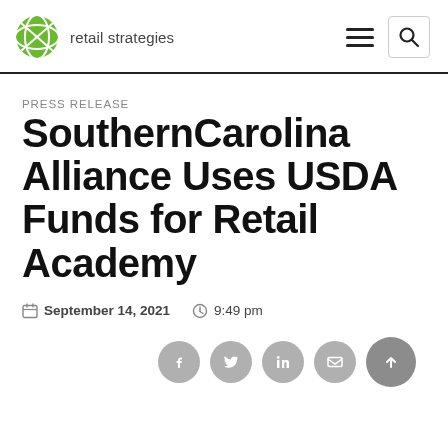retail strategies
PRESS RELEASE
SouthernCarolina Alliance Uses USDA Funds for Retail Academy
September 14, 2021  9:49 pm